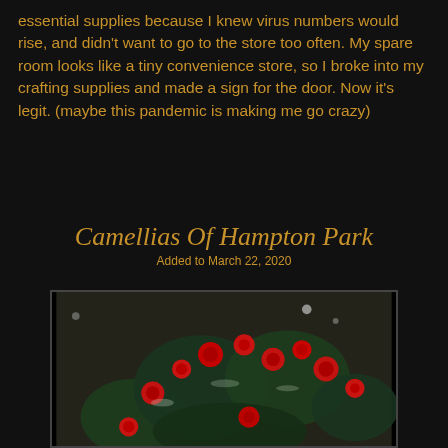essential supplies because I knew virus numbers would rise, and didn't want to go to the store too often. My spare room looks like a tiny convenience store, so I broke into my crafting supplies and made a sign for the door. Now it's legit. (maybe this pandemic is making me go crazy)
Camellias Of Hampton Park
Added to March 22, 2020
[Figure (photo): Photograph of red camellias with green foliage against a dark background, framed with a dark border]